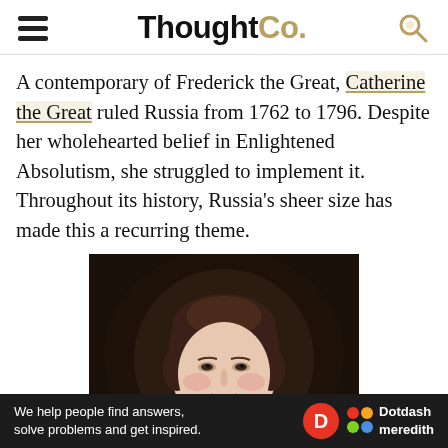ThoughtCo.
A contemporary of Frederick the Great, Catherine the Great ruled Russia from 1762 to 1796. Despite her wholehearted belief in Enlightened Absolutism, she struggled to implement it. Throughout its history, Russia’s sheer size has made this a recurring theme.
[Figure (photo): Classical portrait painting of a young woman (Catherine the Great) with dark upswept hair, pale skin, rosy cheeks, wearing a dark dress, set against a dark oval background.]
We help people find answers, solve problems and get inspired. Dotdash meredith